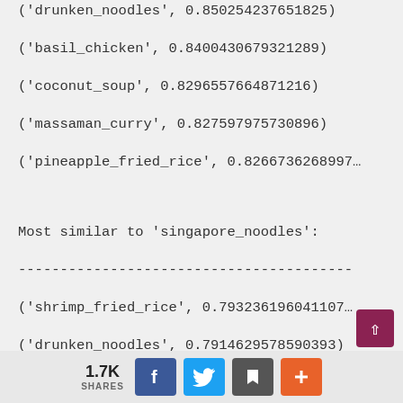('drunken_noodles', 0.850254237651825)
('basil_chicken', 0.8400430679321289)
('coconut_soup', 0.8296557664871216)
('massaman_curry', 0.827597975730896)
('pineapple_fried_rice', 0.8266736268997…
Most similar to 'singapore_noodles':
----------------------------------------
('shrimp_fried_rice', 0.793236196041107…
('drunken_noodles', 0.7914629578590393)
('house_fried_rice', 0.7901676297187805)
('mongolian_beef', 0.7796567678451538)
('crab_rangoons', 0.7737395485496521)
1.7K SHARES [Facebook] [Twitter] [Save] [+]